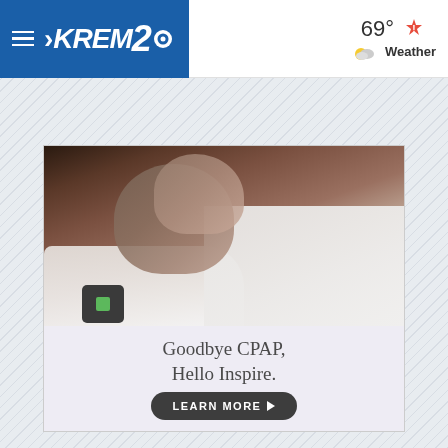≡ KREM2 | 69° Weather
[Figure (screenshot): KREM2 news website screenshot showing navigation header with hamburger menu, KREM2 CBS logo on blue background, and weather widget showing 69° with partly cloudy icon and Weather label with warning triangle. Below is a diagonal hatched gray background with an advertisement for Inspire Medical showing a couple sleeping in bed with text 'Goodbye CPAP, Hello Inspire.' and a 'LEARN MORE' button.]